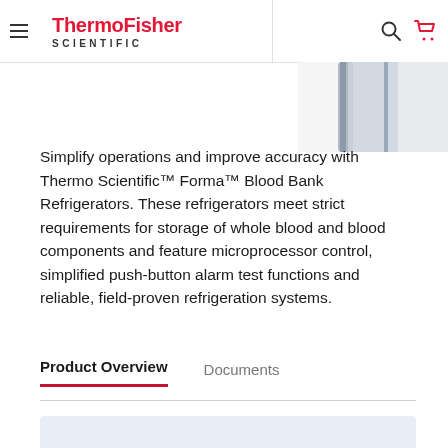ThermoFisher SCIENTIFIC
[Figure (photo): Partial view of a Thermo Scientific Forma Blood Bank Refrigerator, showing the door edge in a gray/silver metallic finish]
Simplify operations and improve accuracy with Thermo Scientific™ Forma™ Blood Bank Refrigerators. These refrigerators meet strict requirements for storage of whole blood and blood components and feature microprocessor control, simplified push-button alarm test functions and reliable, field-proven refrigeration systems.
Product Overview
Documents